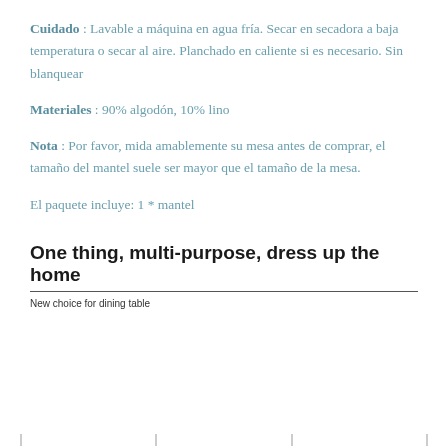Cuidado : Lavable a máquina en agua fría. Secar en secadora a baja temperatura o secar al aire. Planchado en caliente si es necesario. Sin blanquear
Materiales : 90% algodón, 10% lino
Nota : Por favor, mida amablemente su mesa antes de comprar, el tamaño del mantel suele ser mayor que el tamaño de la mesa.
El paquete incluye: 1 * mantel
One thing, multi-purpose, dress up the home
New choice for dining table